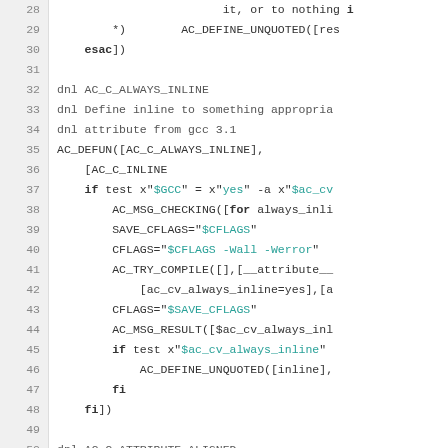[Figure (screenshot): Source code listing showing lines 28-52 of an autoconf m4 script. Lines are numbered in a left gutter. Keywords like 'if', 'fi', 'esac', 'for' are bold. String literals like '$GCC', 'yes', '$CFLAGS', '$SAVE_CFLAGS', '$ac_cv_always_inline' appear in teal/cyan. Comments starting with 'dnl' appear in gray. Macros like AC_DEFUN, AC_MSG_CHECKING, AC_TRY_COMPILE, AC_MSG_RESULT, AC_DEFINE_UNQUOTED appear in dark text.]